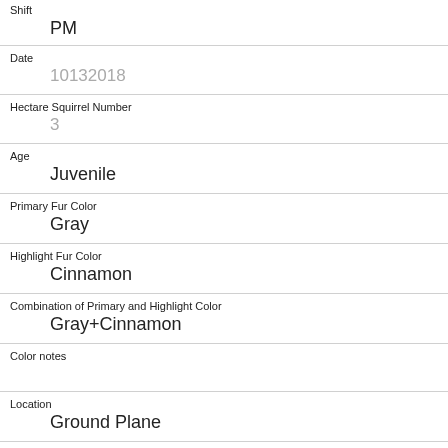| Shift | PM |
| Date | 10132018 |
| Hectare Squirrel Number | 3 |
| Age | Juvenile |
| Primary Fur Color | Gray |
| Highlight Fur Color | Cinnamon |
| Combination of Primary and Highlight Color | Gray+Cinnamon |
| Color notes |  |
| Location | Ground Plane |
| Above Ground Sighter Measurement | FALSE |
| Specific Location |  |